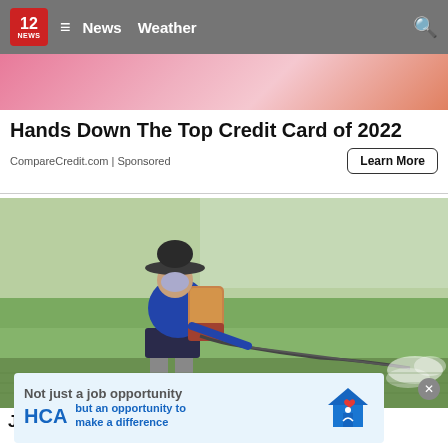12 NEWS | News  Weather
[Figure (photo): Pink/orange gradient banner image at top of page, partially visible]
Hands Down The Top Credit Card of 2022
CompareCredit.com | Sponsored
Learn More
[Figure (photo): A farmer wearing a wide-brimmed hat, face mask, and blue long-sleeve shirt spraying pesticide from a backpack sprayer across a green rice paddy field]
[Figure (infographic): HCA advertisement banner: 'Not just a job opportunity but an opportunity to make a difference' with HCA logo and house illustration]
Jury F